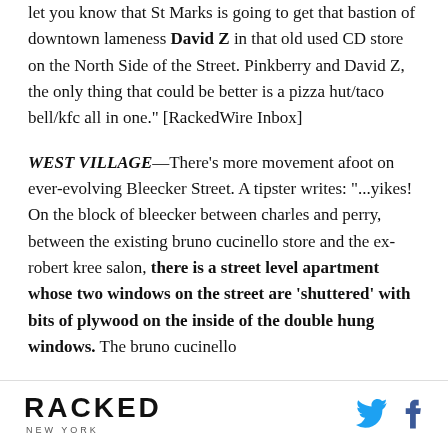let you know that St Marks is going to get that bastion of downtown lameness David Z in that old used CD store on the North Side of the Street. Pinkberry and David Z, the only thing that could be better is a pizza hut/taco bell/kfc all in one." [RackedWire Inbox]
WEST VILLAGE—There's more movement afoot on ever-evolving Bleecker Street. A tipster writes: "...yikes! On the block of bleecker between charles and perry, between the existing bruno cucinello store and the ex-robert kree salon, there is a street level apartment whose two windows on the street are ‘shuttered’ with bits of plywood on the inside of the double hung windows. The bruno cucinello
RACKED NEW YORK